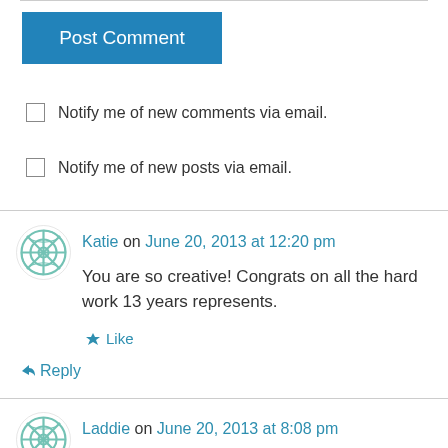Post Comment
Notify me of new comments via email.
Notify me of new posts via email.
Katie on June 20, 2013 at 12:20 pm
You are so creative! Congrats on all the hard work 13 years represents.
Like
Reply
Laddie on June 20, 2013 at 8:08 pm